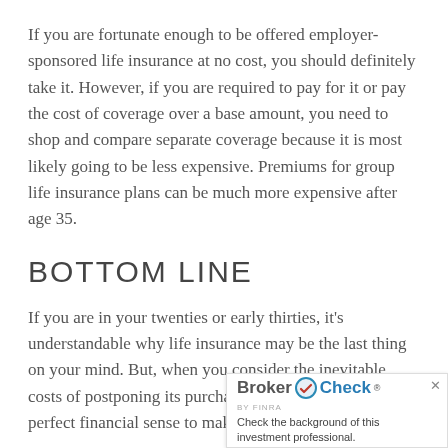If you are fortunate enough to be offered employer-sponsored life insurance at no cost, you should definitely take it. However, if you are required to pay for it or pay the cost of coverage over a base amount, you need to shop and compare separate coverage because it is most likely going to be less expensive. Premiums for group life insurance plans can be much more expensive after age 35.
BOTTOM LINE
If you are in your twenties or early thirties, it's understandable why life insurance may be the last thing on your mind. But, when you consider the inevitable costs of postponing its purchase, perfect financial sense to make it a part
[Figure (other): BrokerCheck by FINRA advertisement widget with logo and text 'Check the background of this investment professional.' with a close button.]